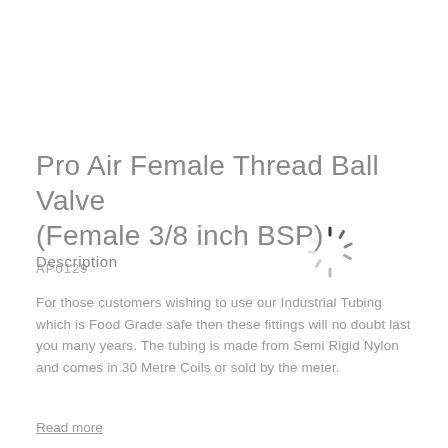Pro Air Female Thread Ball Valve (Female 3/8 inch BSP)
AP0129
Description
[Figure (illustration): Loading spinner / animated loading indicator graphic]
For those customers wishing to use our Industrial Tubing which is Food Grade safe then these fittings will no doubt last you many years. The tubing is made from Semi Rigid Nylon and comes in 30 Metre Coils or sold by the meter.
Read more